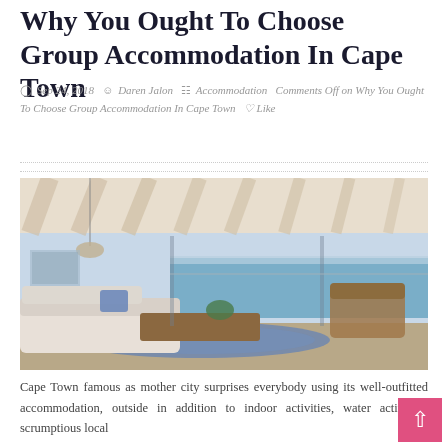Why You Ought To Choose Group Accommodation In Cape Town
Sep 24, 2018  Daren Jalon  Accommodation  Comments Off on Why You Ought To Choose Group Accommodation In Cape Town  ♡ Like
[Figure (photo): Luxury interior living room with white sofas, coffee table, blue patterned rug, and floor-to-ceiling windows overlooking the ocean under a pergola-style ceiling]
Cape Town famous as mother city surprises everybody using its well-outfitted accommodation, outside in addition to indoor activities, water activities, scrumptious local